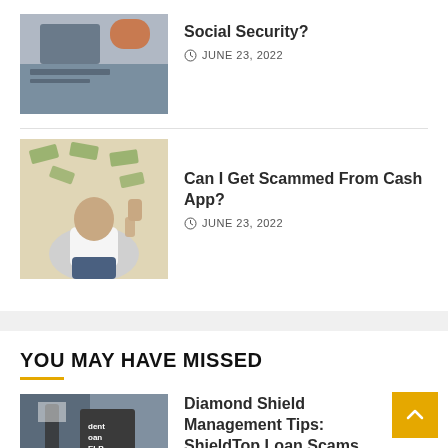[Figure (photo): Person working at desk with tablet and coffee cup, overhead view]
Social Security?
JUNE 23, 2022
[Figure (photo): Man celebrating with fist in the air surrounded by flying money bills]
Can I Get Scammed From Cash App?
JUNE 23, 2022
YOU MAY HAVE MISSED
[Figure (photo): Person holding a sign that reads 'student loan help' at a laptop]
Diamond Shield Management Tips: ShieldTop Loan Scams You Want to Avoid